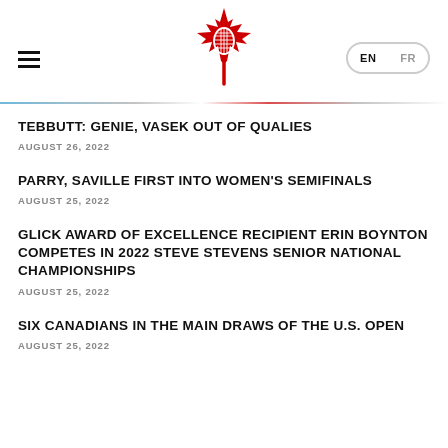[Figure (logo): Tennis Canada logo: red maple leaf with a tennis racket inside]
TEBBUTT: GENIE, VASEK OUT OF QUALIES
AUGUST 26, 2022
PARRY, SAVILLE FIRST INTO WOMEN'S SEMIFINALS
AUGUST 25, 2022
GLICK AWARD OF EXCELLENCE RECIPIENT ERIN BOYNTON COMPETES IN 2022 STEVE STEVENS SENIOR NATIONAL CHAMPIONSHIPS
AUGUST 25, 2022
SIX CANADIANS IN THE MAIN DRAWS OF THE U.S. OPEN
AUGUST 25, 2022